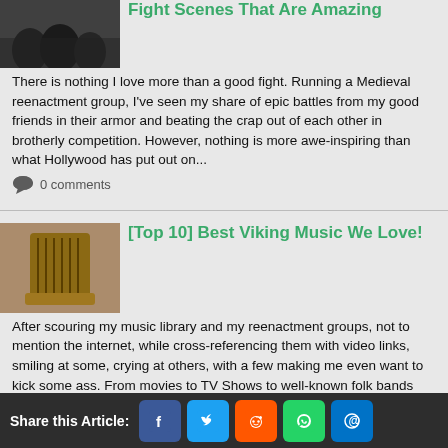Fight Scenes That Are Amazing
There is nothing I love more than a good fight. Running a Medieval reenactment group, I've seen my share of epic battles from my good friends in their armor and beating the crap out of each other in brotherly competition. However, nothing is more awe-inspiring than what Hollywood has put out on...
0 comments
[Top 10] Best Viking Music We Love!
After scouring my music library and my reenactment groups, not to mention the internet, while cross-referencing them with video links, smiling at some, crying at others, with a few making me even want to kick some ass. From movies to TV Shows to well-known folk bands that help bring us back to a...
0 comments
Top 10 Viking S...
Share this Article: